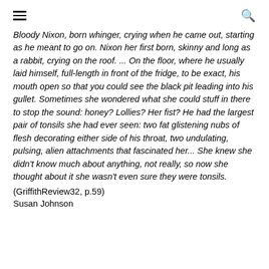☰ 🔍
Bloody Nixon, born whinger, crying when he came out, starting as he meant to go on. Nixon her first born, skinny and long as a rabbit, crying on the roof. ... On the floor, where he usually laid himself, full-length in front of the fridge, to be exact, his mouth open so that you could see the black pit leading into his gullet. Sometimes she wondered what she could stuff in there to stop the sound: honey? Lollies? Her fist? He had the largest pair of tonsils she had ever seen: two fat glistening nubs of flesh decorating either side of his throat, two undulating, pulsing, alien attachments that fascinated her... She knew she didn't know much about anything, not really, so now she thought about it she wasn't even sure they were tonsils.
(GriffithReview32, p.59)
Susan Johnson